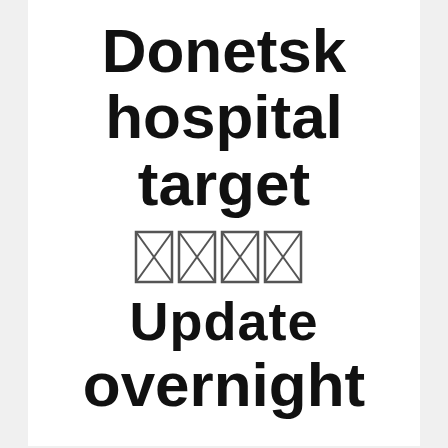Donetsk hospital target 🇺🇦 Update overnight
Calvert Jenkins · 4 months ago · 2 min read